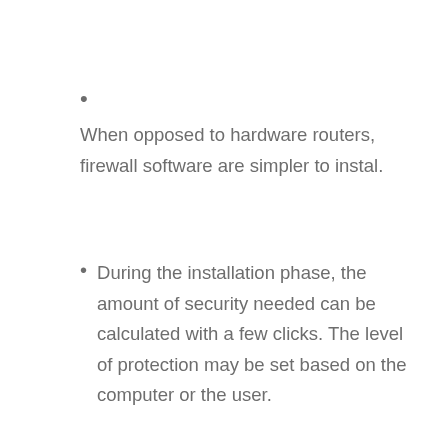When opposed to hardware routers, firewall software are simpler to instal.
During the installation phase, the amount of security needed can be calculated with a few clicks. The level of protection may be set based on the computer or the user.